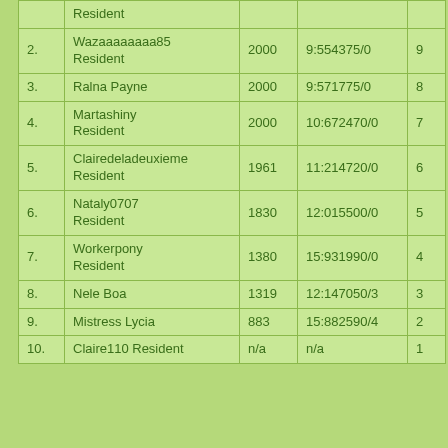|  | Resident |  |  |  |
| 2. | Wazaaaaaaaa85 Resident | 2000 | 9:554375/0 | 9 |
| 3. | Ralna Payne | 2000 | 9:571775/0 | 8 |
| 4. | Martashiny Resident | 2000 | 10:672470/0 | 7 |
| 5. | Clairedeladeuxieme Resident | 1961 | 11:214720/0 | 6 |
| 6. | Nataly0707 Resident | 1830 | 12:015500/0 | 5 |
| 7. | Workerpony Resident | 1380 | 15:931990/0 | 4 |
| 8. | Nele Boa | 1319 | 12:147050/3 | 3 |
| 9. | Mistress Lycia | 883 | 15:882590/4 | 2 |
| 10. | Claire110 Resident | n/a | n/a | 1 |